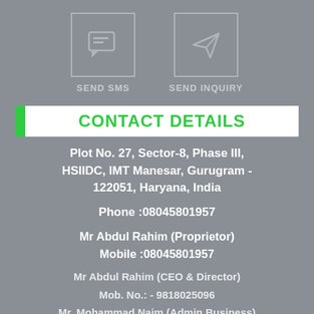[Figure (infographic): Two icon buttons side by side: a chat/SMS icon in a bordered square labeled SEND SMS, and a paper airplane/send icon in a bordered square labeled SEND INQUIRY]
CONTACT DETAILS
Plot No. 27, Sector-8, Phase III, HSIIDC, IMT Manesar, Gurugram - 122051, Haryana, India
Phone :08045801957
Mr Abdul Rahim (Proprietor)
Mobile :08045801957
Mr Abdul Rahim (CEO & Director)
Mob. No.: - 9818025096
Mr. Mohammad Naim (Admin Business)